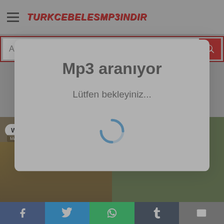TURKCEBELESMP3INDIR
Aranacak kelimeyi girin
Mp3 aranıyor
Lütfen bekleyiniz...
[Figure (screenshot): Loading spinner (circular arc in blue)]
[Figure (photo): Meme images at bottom showing 'WHERES THE MONEY' and 'Me' text with cartoon mafia characters]
Facebook Twitter WhatsApp Tumblr Email social share buttons